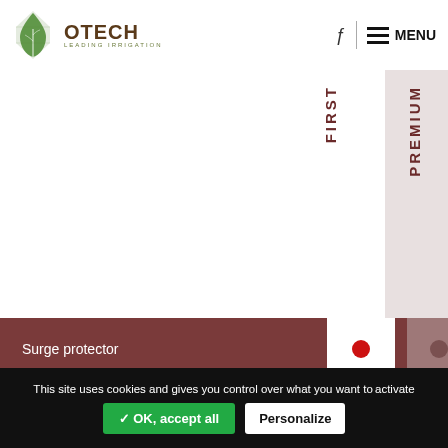[Figure (logo): OTECH Leading Irrigation logo with green leaf/drop icon]
| Feature | FIRST | PREMIUM |
| --- | --- | --- |
| Surge protector | ● | ● |
| Phase missing control / power outage | ● | ● |
| 3 positions switch | ● | ● |
| 2 positions switch | ● | ● |
| Voltage regulator transformer | ● | ● |
| Transformer 460vac-115vac | ● | ● |
This site uses cookies and gives you control over what you want to activate
✓ OK, accept all
Personalize